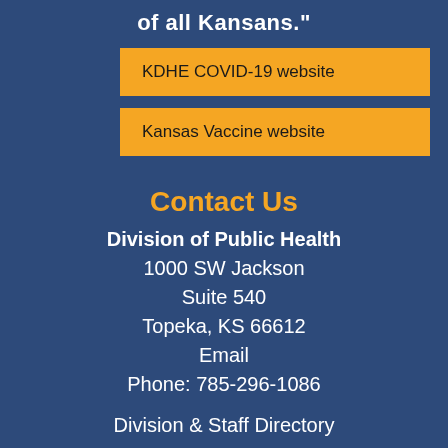of all Kansans."
KDHE COVID-19 website
Kansas Vaccine website
Contact Us
Division of Public Health
1000 SW Jackson
Suite 540
Topeka, KS 66612
Email
Phone: 785-296-1086
Division & Staff Directory